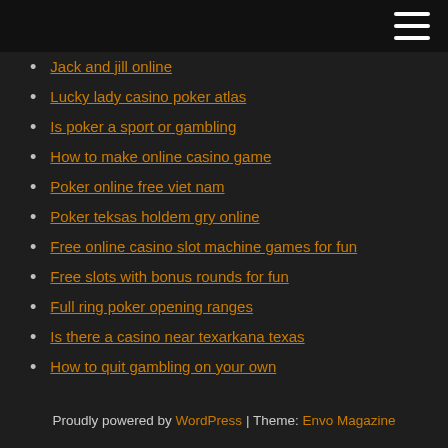Jack and jill online
Lucky lady casino poker atlas
Is poker a sport or gambling
How to make online casino game
Poker online free viet nam
Poker teksas holdem gry online
Free online casino slot machine games for fun
Free slots with bonus rounds for fun
Full ring poker opening ranges
Is there a casino near texarkana texas
How to quit gambling on your own
Proudly powered by WordPress | Theme: Envo Magazine